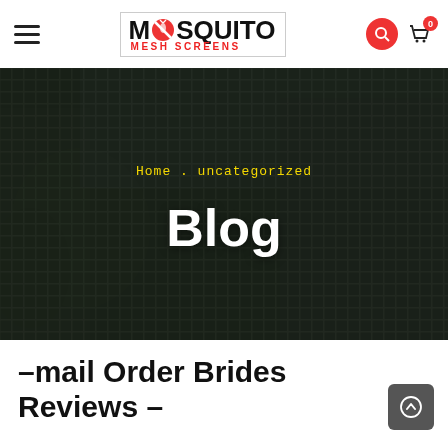Mosquito Mesh Screens — navigation bar with logo, hamburger menu, search and cart icons
[Figure (photo): Close-up photograph of a dark mosquito mesh screen with a building and trees visible through it, used as a hero/banner background image]
Home . uncategorized
Blog
-mail Order Brides Reviews –